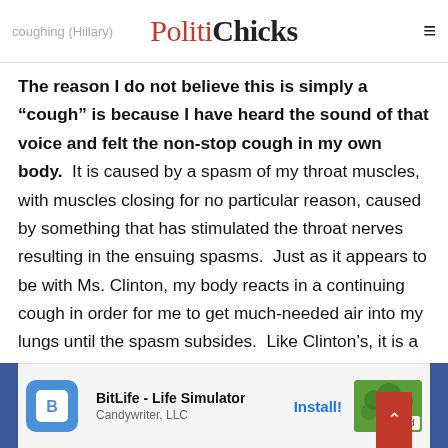coughing (Hillary) - PolitiChicks
The reason I do not believe this is simply a “cough” is because I have heard the sound of that voice and felt the non-stop cough in my own body. It is caused by a spasm of my throat muscles, with muscles closing for no particular reason, caused by something that has stimulated the throat nerves resulting in the ensuing spasms. Just as it appears to be with Ms. Clinton, my body reacts in a continuing cough in order for me to get much-needed air into my lungs until the spasm subsides. Like Clinton’s, it is a dry cough and nothing comes up, and it does cause a hoarse, whispery speech until the vocal chords completely relax. I have had to explain this phenomenon time and time again, even to family and friends who are fully aware of my long history with neurological damage…
[Figure (screenshot): Advertisement banner for BitLife - Life Simulator by Candywriter, LLC with Install button and Ad badge]